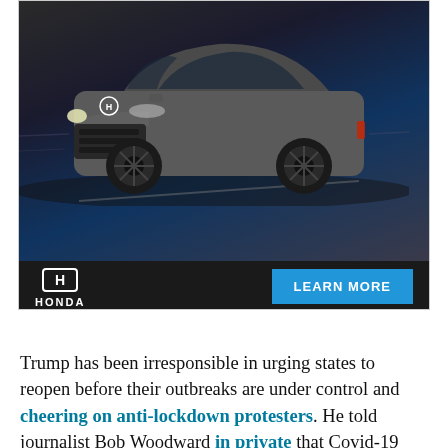[Figure (photo): Honda advertisement showing a dark gray Honda SUV (CR-V or similar) on a dark background road, with Honda logo and LEARN MORE button]
POWERED BY CONCERT   FEEDBACK
Trump has been irresponsible in urging states to reopen before their outbreaks are under control and cheering on anti-lockdown protesters. He told journalist Bob Woodward in private that Covid-19 was a ferocious and deadly virus, while assuring the public that it would soon disappear on its own. He has also helped politicize the wearing of masks, even as the scientific consensus congealed that